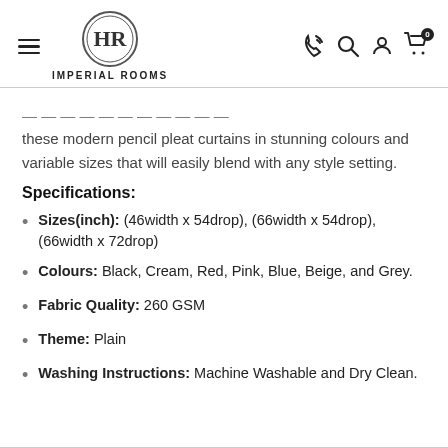Imperial Rooms — navigation header with logo, hamburger menu, phone, search, account, and cart icons
these modern pencil pleat curtains in stunning colours and variable sizes that will easily blend with any style setting.
Specifications:
Sizes(inch): (46width x 54drop), (66width x 54drop), (66width x 72drop)
Colours: Black, Cream, Red, Pink, Blue, Beige, and Grey.
Fabric Quality: 260 GSM
Theme: Plain
Washing Instructions: Machine Washable and Dry Clean.